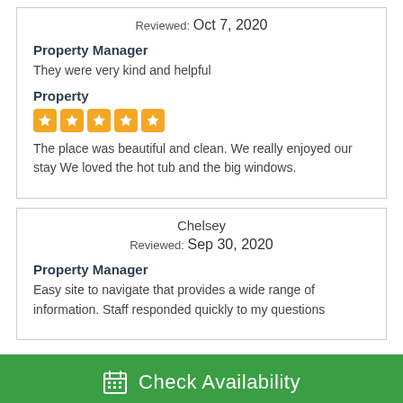Reviewed: Oct 7, 2020
Property Manager
They were very kind and helpful
Property
[Figure (other): 5 orange star rating icons]
The place was beautiful and clean. We really enjoyed our stay We loved the hot tub and the big windows.
Chelsey
Reviewed: Sep 30, 2020
Property Manager
Easy site to navigate that provides a wide range of information. Staff responded quickly to my questions
Check Availability